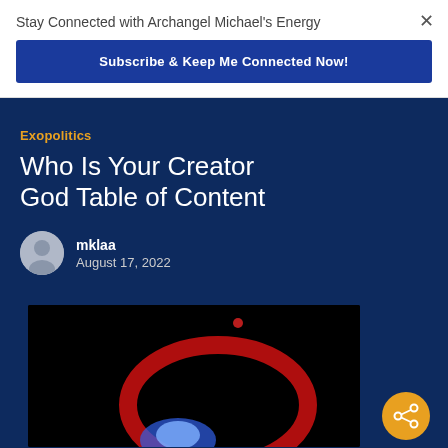Stay Connected with Archangel Michael's Energy
Subscribe & Keep Me Connected Now!
Exopolitics
Who Is Your Creator God Table of Content
mklaa
August 17, 2022
[Figure (photo): Dark image showing colorful glowing shapes — red arc and blue glowing object against black background]